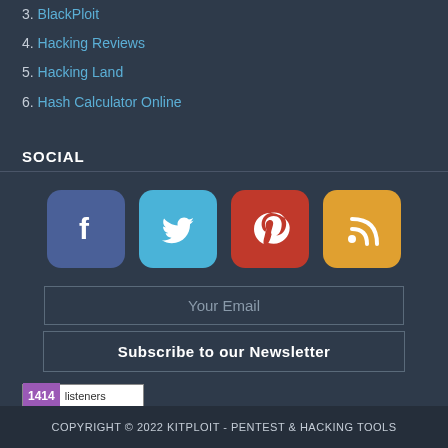3. BlackPloit
4. Hacking Reviews
5. Hacking Land
6. Hash Calculator Online
SOCIAL
[Figure (other): Social media icons: Facebook, Twitter, Pinterest, RSS]
Your Email
Subscribe to our Newsletter
[Figure (other): FeedBurner badge showing 1414 listeners]
COPYRIGHT © 2022 KITPLOIT - PENTEST & HACKING TOOLS